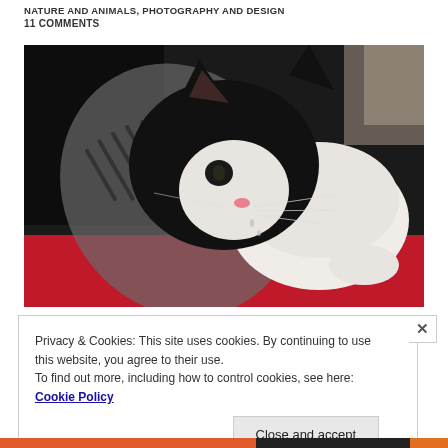NATURE AND ANIMALS, PHOTOGRAPHY AND DESIGN
11 COMMENTS
[Figure (photo): A black and white tuxedo cat sniffing or examining a litter scoop/scooper inside a litter box, placed on a red surface. Close-up shot with shallow depth of field.]
Privacy & Cookies: This site uses cookies. By continuing to use this website, you agree to their use.
To find out more, including how to control cookies, see here: Cookie Policy
Close and accept